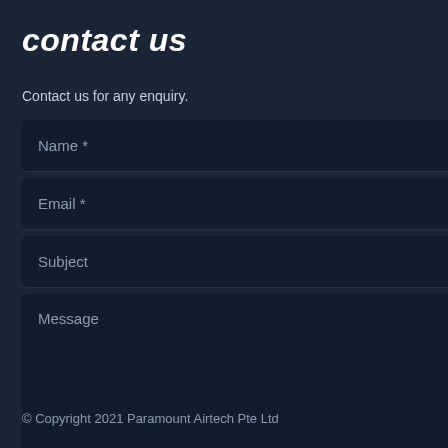contact us
Contact us for any enquiry.
Name *
Email *
Subject
Message
Sen
© Copyright 2021 Paramount Airtech Pte Ltd